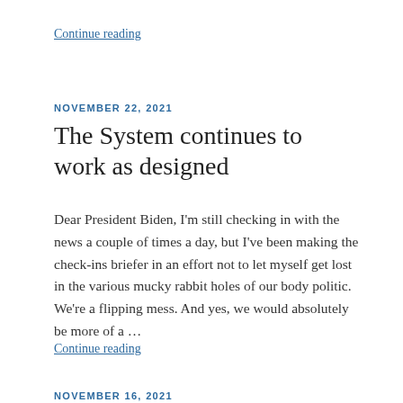Continue reading
NOVEMBER 22, 2021
The System continues to work as designed
Dear President Biden, I'm still checking in with the news a couple of times a day, but I've been making the check-ins briefer in an effort not to let myself get lost in the various mucky rabbit holes of our body politic. We're a flipping mess. And yes, we would absolutely be more of a …
Continue reading
NOVEMBER 16, 2021